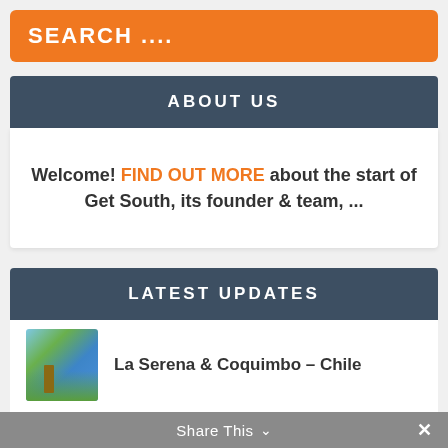SEARCH ....
ABOUT US
Welcome! FIND OUT MORE about the start of Get South, its founder & team, ...
LATEST UPDATES
La Serena & Coquimbo – Chile
Salta – Argentina
Share This  ∨  ×